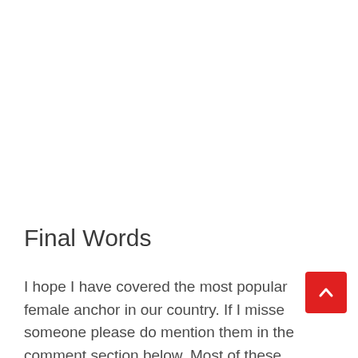Final Words
I hope I have covered the most popular female anchor in our country. If I missed someone please do mention them in the comment section below. Most of these